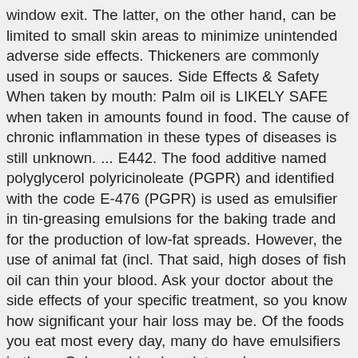window exit. The latter, on the other hand, can be limited to small skin areas to minimize unintended adverse side effects. Thickeners are commonly used in soups or sauces. Side Effects & Safety When taken by mouth: Palm oil is LIKELY SAFE when taken in amounts found in food. The cause of chronic inflammation in these types of diseases is still unknown. ... E442. The food additive named polyglycerol polyricinoleate (PGPR) and identified with the code E-476 (PGPR) is used as emulsifier in tin-greasing emulsions for the baking trade and for the production of low-fat spreads. However, the use of animal fat (incl. That said, high doses of fish oil can thin your blood. Ask your doctor about the side effects of your specific treatment, so you know how significant your hair loss may be. Of the foods you eat most every day, many do have emulsifiers in them. Only used in chocolate and cocoa products, Acceptable Daily Intake: There was considerable criticism of the methodology of the study and the US Food and Drug Administration (FDA) undertook several subsequent studies. Before using E45 Cream, inform your doctor about your current list of medications, over the counter